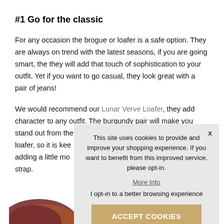#1 Go for the classic
For any occasion the brogue or loafer is a safe option. They are always on trend with the latest seasons, if you are going smart, the they will add that touch of sophistication to your outfit. Yet if you want to go casual, they look great with a pair of jeans!
We would recommend our Lunar Verve Loafer, they add character to any outfit. The burgundy pair will make you stand out from the loafer, so it is kee adding a little mo strap.
This site uses cookies to provide and improve your shopping experience. If you want to benefit from this improved service, please opt-in.
More Info
I opt-in to a better browsing experience
ACCEPT COOKIES
[Figure (photo): Partial view of a burgundy/brown loafer shoe at the bottom of the page]